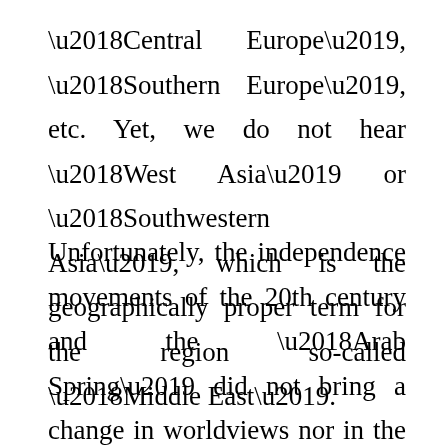‘Central Europe’, ‘Southern Europe’, etc. Yet, we do not hear ‘West Asia’ or ‘Southwestern Asia’, which is the geographically proper term for the region so-called ‘Middle East’.
Unfortunately, the independence movements of the 20th century and the ‘Arab Spring’ did not bring a change in worldviews nor in the systems of thought and communication. Personally, I stopped using ‘Middle East’ and replaced it with ‘West Asia’ or ‘Southwestern Asia’. It took me a while. Old habits break